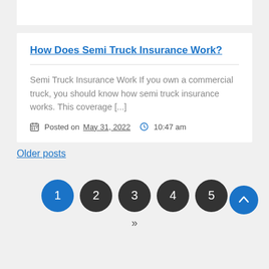How Does Semi Truck Insurance Work?
Semi Truck Insurance Work If you own a commercial truck, you should know how semi truck insurance works. This coverage [...]
Posted on May 31, 2022  10:47 am
Older posts
1 2 3 4 5 »